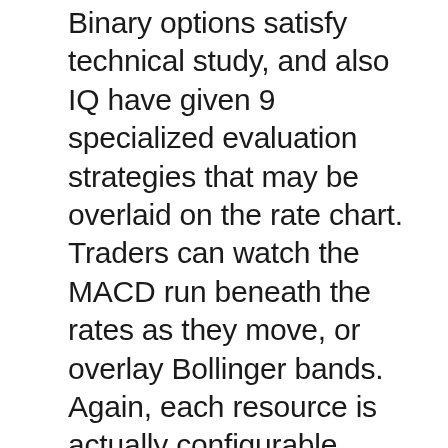Binary options satisfy technical study, and also IQ have given 9 specialized evaluation strategies that may be overlaid on the rate chart. Traders can watch the MACD run beneath the rates as they move, or overlay Bollinger bands. Again, each resource is actually configurable, therefore relocating averages can be amended to fit the trader. Ever intended to modify the ‘smoothing’ ratio on the Stochastic oscillator? with IQ option, you can! With all severity, these tools are as highly effective as any kind of high end CFD or Foreign exchange broker and also IQ truly have actually elevated the bar within binary options.